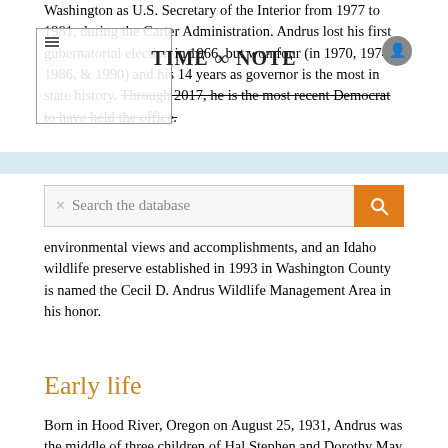Washington as U.S. Secretary of the Interior from 1977 to 1981, during the Carter Administration. Andrus lost his first gubernatorial election in 1966, but won four (in 1970, 1974, 1986, & 1990) and his 14 years as governor is the most in state history. Through 2017, he is the most recent Democrat to have held the office.
[Figure (screenshot): Time & Note website overlay header with hamburger menu, logo, and user icon]
Search the database
...his environmental views and accomplishments, and an Idaho wildlife preserve established in 1993 in Washington County is named the Cecil D. Andrus Wildlife Management Area in his honor.
Early life
Born in Hood River, Oregon on August 25, 1931, Andrus was the middle of three children of Hal Stephen and Dorothy May (Johnson) Andrus, with older brother Steve and younger sister Margaret. They later lived near Junction City, on a farm without electricity. During World War II, the family moved to Eugene in early 1942, when "Cece" was 11, where Hal (1906–2004) and his brother Bud opened a machine shop to refurbish sawmill equipment. Andrus graduated from Eugene High School in 1948 at age 16 and attended Oregon State College in Corvallis, where he majored in engineering in his freshman year.
At age 17, he got a good summer job with the local utility in 1949, and late in August, he eloped to Reno with Carol Mae May, his high school sweetheart. Andrus had just turned 18, and she was 16 months younger. He decided to keep working and not return to